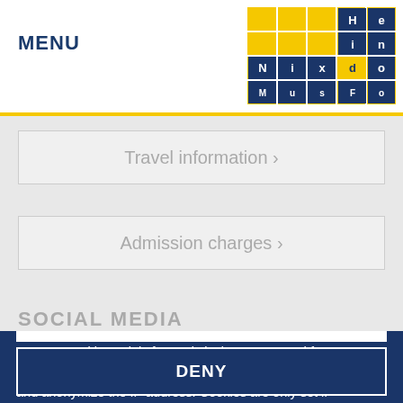MENU
[Figure (logo): Heinz Nixdorf MuseumsForum logo — yellow grid with blue text]
Travel information ›
Admission charges ›
SOCIAL MEDIA
We use Cookies solely for statistical purposes and for X the necessary operation of the site. We use Matomo and anonymize the IP address. Cookies are only set if you accept this. For more information about Cookies is available in our Privacy policy.
ACCEPT
DENY